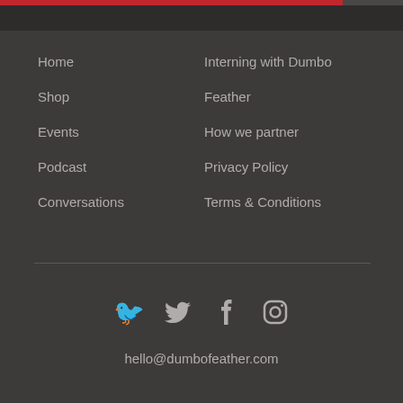Home
Shop
Events
Podcast
Conversations
Interning with Dumbo
Feather
How we partner
Privacy Policy
Terms & Conditions
[Figure (illustration): Social media icons: Twitter bird, Facebook f, Instagram camera]
hello@dumbofeather.com